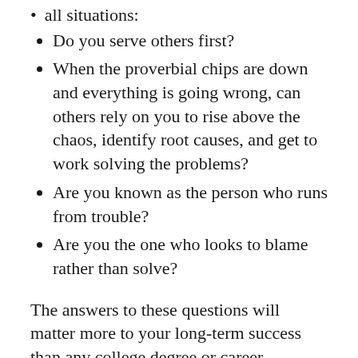all situations:
Do you serve others first?
When the proverbial chips are down and everything is going wrong, can others rely on you to rise above the chaos, identify root causes, and get to work solving the problems?
Are you known as the person who runs from trouble?
Are you the one who looks to blame rather than solve?
The answers to these questions will matter more to your long-term success than any college degree or career accomplishment you may achieve.